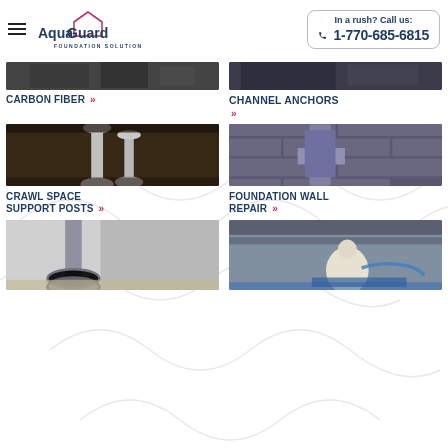AquaGuard Foundation Solutions | In a rush? Call us: 1-770-685-6815
[Figure (photo): Partial top image left - construction/foundation material close-up]
[Figure (photo): Partial top image right - dark construction/foundation material]
CARBON FIBER »
CHANNEL ANCHORS »
[Figure (photo): Crawl space with metal support posts installed under floor joists]
[Figure (photo): Foundation wall repair with channel anchor installed in cinder block wall]
CRAWL SPACE SUPPORT POSTS »
FOUNDATION WALL REPAIR »
[Figure (photo): Helical pier / screw pile anchor installed in concrete foundation with gravel ground]
[Figure (photo): Worker in white suit spraying blue waterproofing material under crawl space]